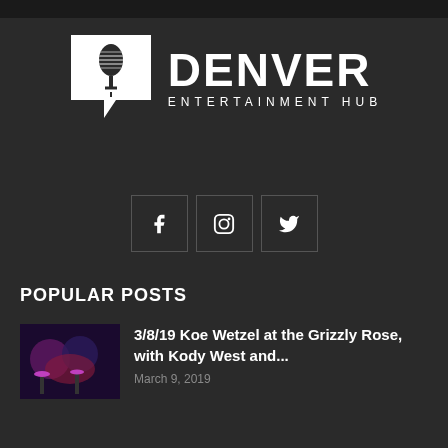[Figure (logo): Denver Entertainment Hub logo with microphone icon inside speech bubble and text DENVER ENTERTAINMENT HUB]
[Figure (infographic): Social media icons: Facebook, Instagram, Twitter in bordered square boxes]
POPULAR POSTS
[Figure (photo): Concert photo with purple/red lighting showing performers on stage]
3/8/19 Koe Wetzel at the Grizzly Rose, with Kody West and...
March 9, 2019